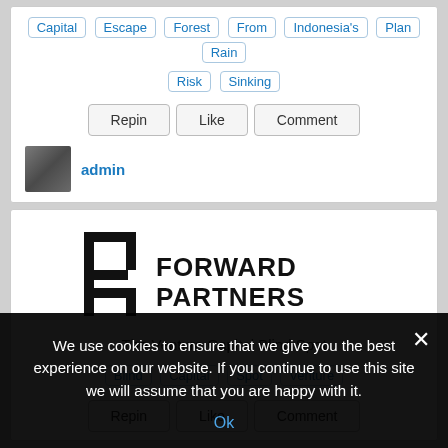Capital
Escape
Forest
From
Indonesia's
Plan
Rain
Risk
Sinking
Repin  Like  Comment
admin
[Figure (logo): Forward Partners logo — stylized FP letterform with 'FORWARD PARTNERS' text in bold black]
The Venture Capital Blind Spot
Blind
Capital
Spot
Venture
Repin  Like  Comment
We use cookies to ensure that we give you the best experience on our website. If you continue to use this site we will assume that you are happy with it.
Ok